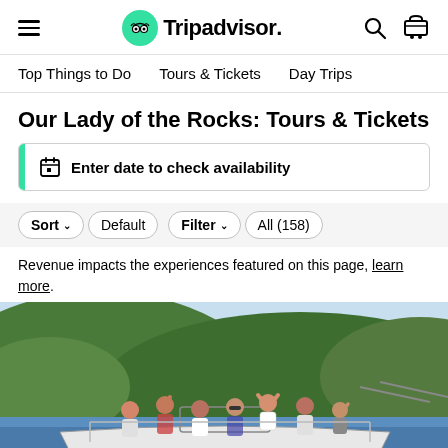Tripadvisor navigation bar with hamburger menu, logo, search and cart icons
Top Things to Do  Tours & Tickets  Day Trips
Our Lady of the Rocks: Tours & Tickets
Enter date to check availability
Sort  Default  Filter  All (158)
Revenue impacts the experiences featured on this page, learn more.
[Figure (photo): Group of people on a speedboat numbered 128 KT, waving and smiling, with green mountains and water in the background.]